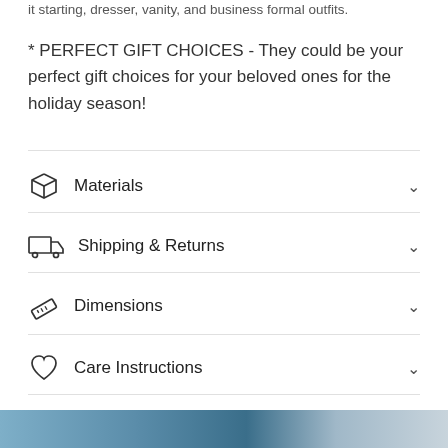* PERFECT GIFT CHOICES - They could be your perfect gift choices for your beloved ones for the holiday season!
Materials
Shipping & Returns
Dimensions
Care Instructions
Share
[Figure (photo): Bottom strip showing partial product images]